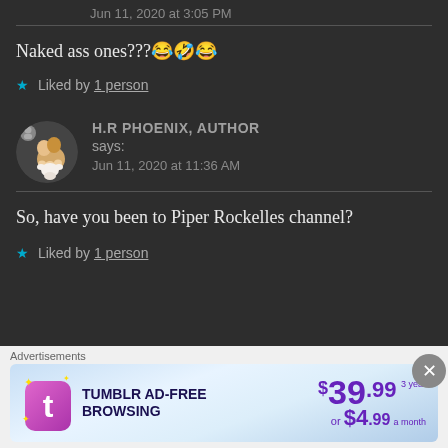Jun 11, 2020 at 3:05 PM
Naked ass ones???😂🤣😂
★ Liked by 1 person
[Figure (photo): User avatar showing a cat paw being held]
H.R PHOENIX, AUTHOR says: Jun 11, 2020 at 11:36 AM
So, have you been to Piper Rockelles channel?
★ Liked by 1 person
[Figure (screenshot): Tumblr ad-free browsing advertisement: $39.99/3 year or $4.99/month]